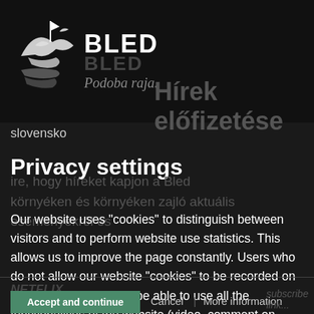[Figure (logo): Bled logo with bird/boat graphic, BLED text, mirror reflection, and italic tagline 'Podoba raja.']
slovensko
Privacy settings
Our website uses “cookies” to distinguish between visitors and to perform website use statistics. This allows us to improve the page constantly. Users who do not allow our website “cookies” to be recorded on their computer, will not be able to use all the functionalities of the website (video, comment on Facebook, etc.).
Cookies are small files that a website that user visited records on his computer. The next time uservisits the same site, he will be recognised by the system...
Accept and continue
Cancel
More information